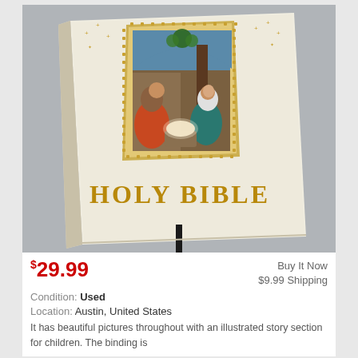[Figure (photo): A Holy Bible with cream/white cover featuring a nativity scene illustration in an arched frame with gold decorative border, and 'HOLY BIBLE' in gold lettering below. A black bookmark ribbon is visible at the bottom.]
$29.99
Buy It Now
$9.99 Shipping
Condition: Used
Location: Austin, United States
It has beautiful pictures throughout with an illustrated story section for children. The binding is